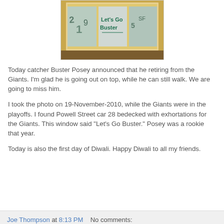[Figure (photo): Photo of a streetcar window bedecked with Giants fan writing, showing glass panels with painted text and decorations, with a yellow/gold frame border.]
Today catcher Buster Posey announced that he retiring from the Giants. I'm glad he is going out on top, while he can still walk. We are going to miss him.
I took the photo on 19-November-2010, while the Giants were in the playoffs. I found Powell Street car 28 bedecked with exhortations for the Giants. This window said "Let's Go Buster." Posey was a rookie that year.
Today is also the first day of Diwali. Happy Diwali to all my friends.
Joe Thompson at 8:13 PM    No comments: